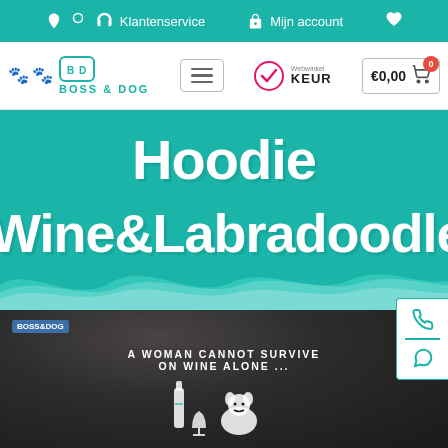Klantenservice  Mijn account
[Figure (screenshot): Boss & Dog webshop header with logo, menu button, Webwinkel KEUR badge, and shopping cart showing €0,00]
[Figure (screenshot): Teal hero banner with large white bubbly text reading 'Hoodie Wine&Labradoodle' with wave decoration at bottom]
[Figure (photo): Black hoodie laid flat showing text 'A WOMAN CANNOT SURVIVE ON WINE ALONE ...' with graphic of wine bottle and labradoodle dog]